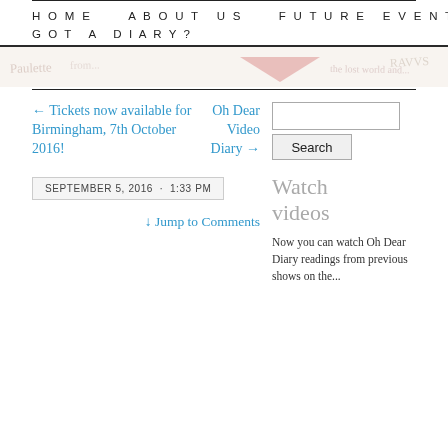HOME   ABOUT US   FUTURE EVENTS   GOT A DIARY?
[Figure (illustration): Faint handwritten diary/sketch banner image with reddish illustration elements]
← Tickets now available for Birmingham, 7th October 2016!
Oh Dear Video Diary →
SEPTEMBER 5, 2016 · 1:33 PM
↓ Jump to Comments
Watch videos
Now you can watch Oh Dear Diary readings from previous shows on the...